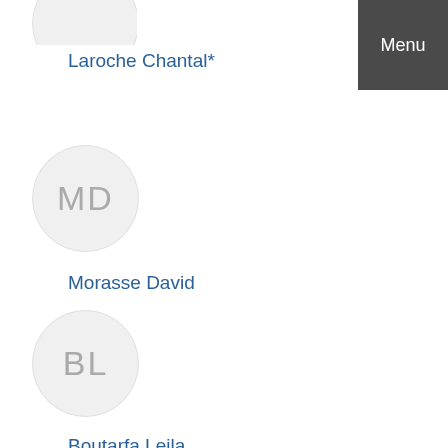Laroche Chantal*
[Figure (illustration): Avatar circle with initials MD for Morasse David]
Morasse David
[Figure (illustration): Avatar circle with initials BL for Boutarfa Leila]
Boutarfa Leila
Menu